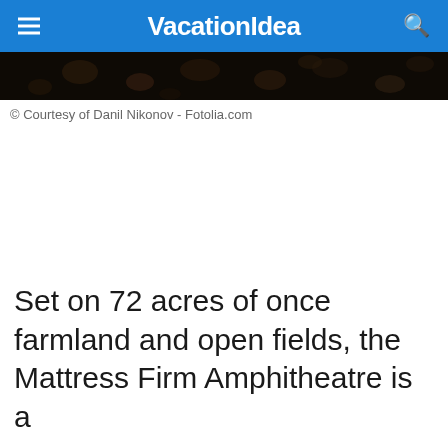VacationIdea
[Figure (photo): Dark close-up photo of what appears to be coffee beans or dark textured surface, used as a decorative strip image]
© Courtesy of Danil Nikonov - Fotolia.com
Set on 72 acres of once farmland and open fields, the Mattress Firm Amphitheatre is a